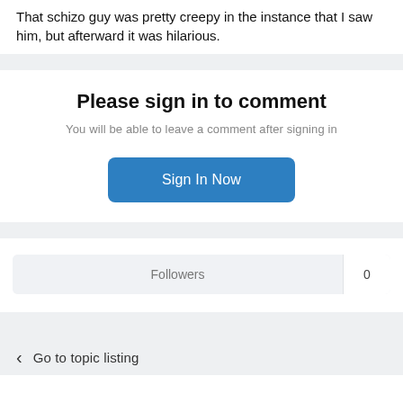That schizo guy was pretty creepy in the instance that I saw him, but afterward it was hilarious.
Please sign in to comment
You will be able to leave a comment after signing in
Sign In Now
Followers 0
Go to topic listing